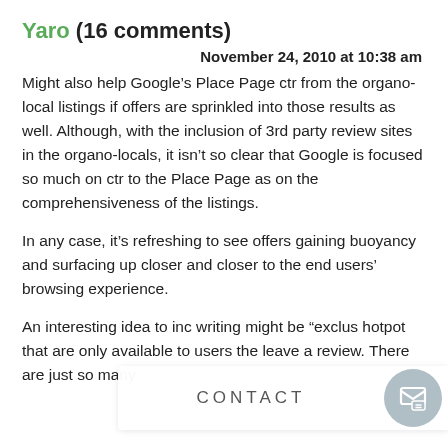Yaro (16 comments)
November 24, 2010 at 10:38 am
Might also help Google’s Place Page ctr from the organo-local listings if offers are sprinkled into those results as well. Although, with the inclusion of 3rd party review sites in the organo-locals, it isn’t so clear that Google is focused so much on ctr to the Place Page as on the comprehensiveness of the listings.
In any case, it’s refreshing to see offers gaining buoyancy and surfacing up closer and closer to the end users’ browsing experience.
An interesting idea to inc writing might be “exclus hotpot that are only available to users the leave a review. There are just so many